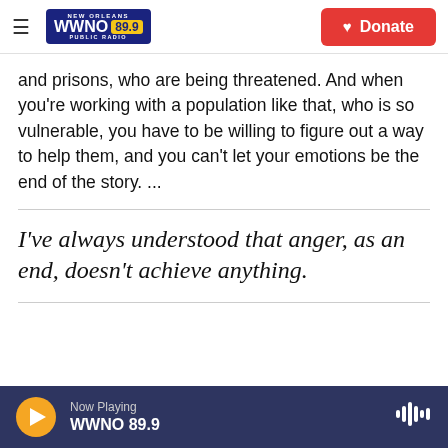NEW ORLEANS WWNO 89.9 PUBLIC RADIO | Donate
and prisons, who are being threatened. And when you're working with a population like that, who is so vulnerable, you have to be willing to figure out a way to help them, and you can't let your emotions be the end of the story. ...
I've always understood that anger, as an end, doesn't achieve anything.
Now Playing WWNO 89.9